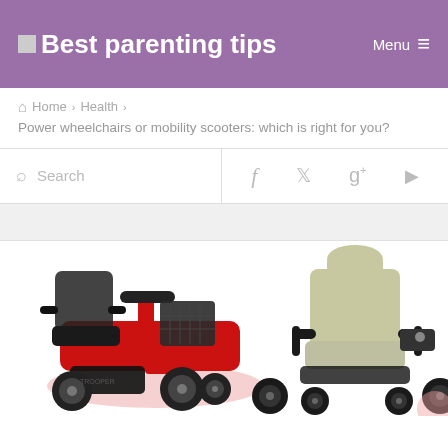Best parenting tips  Menu
Home > Health >
Power wheelchairs or mobility scooters: which is right for you?
[Figure (screenshot): Search bar on the left and social media icons (Facebook, Twitter, Google+, YouTube) on the right]
[Figure (photo): Side-by-side photo of a red mobility scooter (left) and a power wheelchair with beige/cream upholstery (right)]